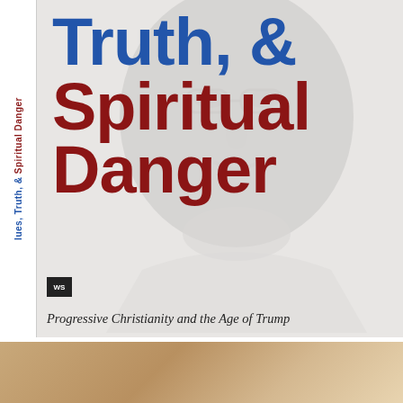[Figure (illustration): Book cover image showing a faded grayscale portrait of a man in the background, with the book title in large text overlaid. Blue text reads 'Truth, &' and dark red text reads 'Spiritual Danger'. A publisher logo (WS) appears in the bottom left of the cover. A dotted line separates the cover from a golden/tan strip at the bottom.]
Truth, & Spiritual Danger
Progressive Christianity and the Age of Trump